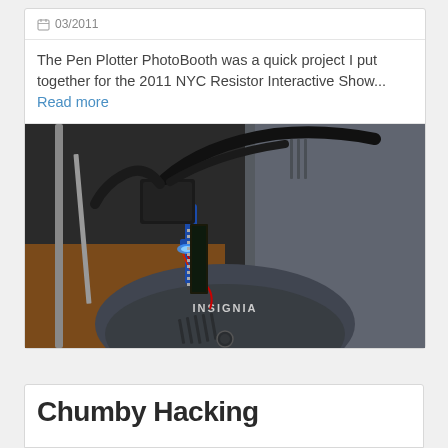03/2011
The Pen Plotter PhotoBooth was a quick project I put together for the 2011 NYC Resistor Interactive Show... Read more
[Figure (photo): Close-up photo of a pen plotter device with electronic components, wiring, blue plastic mount, servo motor, and an Insignia-branded webcam in the foreground. Wooden background visible.]
Chumby Hacking